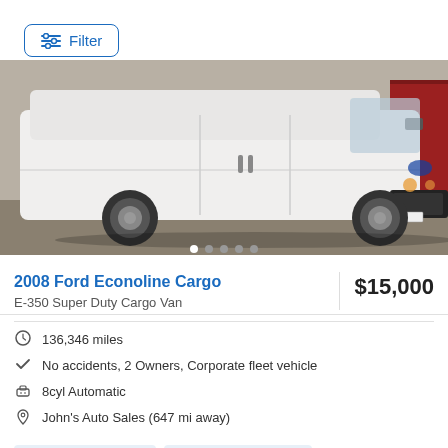[Figure (screenshot): Filter button with horizontal sliders icon in top left corner]
[Figure (photo): White Ford Econoline cargo van parked in a lot, side and front view, with red building in background]
2008 Ford Econoline Cargo
$15,000
E-350 Super Duty Cargo Van
136,346 miles
No accidents, 2 Owners, Corporate fleet vehicle
8cyl Automatic
John's Auto Sales (647 mi away)
Tire Pressure Warnin...
6000lb Towing Capaci...